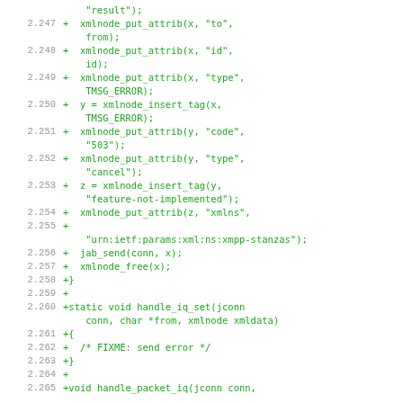Code diff showing additions to XML and XMPP handling functions, lines 2.247-2.265
2.247  +  xmlnode_put_attrib(x, "to", from);
2.248  +  xmlnode_put_attrib(x, "id", id);
2.249  +  xmlnode_put_attrib(x, "type", TMSG_ERROR);
2.250  +  y = xmlnode_insert_tag(x, TMSG_ERROR);
2.251  +  xmlnode_put_attrib(y, "code", "503");
2.252  +  xmlnode_put_attrib(y, "type", "cancel");
2.253  +  z = xmlnode_insert_tag(y, "feature-not-implemented");
2.254  +  xmlnode_put_attrib(z, "xmlns",
2.255  + "urn:ietf:params:xml:ns:xmpp-stanzas");
2.256  +  jab_send(conn, x);
2.257  +  xmlnode_free(x);
2.258  +}
2.259  +
2.260  +static void handle_iq_set(jconn conn, char *from, xmlnode xmldata)
2.261  +{
2.262  +  /* FIXME: send error */
2.263  +}
2.264  +
2.265  +void handle_packet_iq(jconn conn,